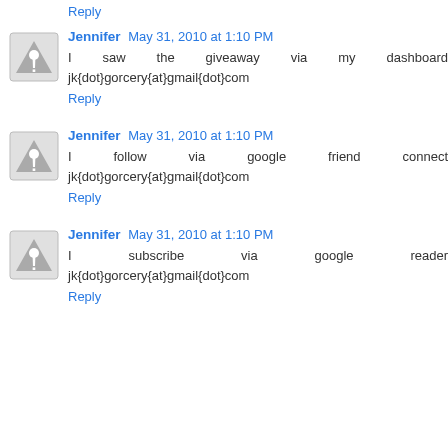Reply
Jennifer May 31, 2010 at 1:10 PM
I saw the giveaway via my dashboard jk{dot}gorcery{at}gmail{dot}com
Reply
Jennifer May 31, 2010 at 1:10 PM
I follow via google friend connect jk{dot}gorcery{at}gmail{dot}com
Reply
Jennifer May 31, 2010 at 1:10 PM
I subscribe via google reader jk{dot}gorcery{at}gmail{dot}com
Reply